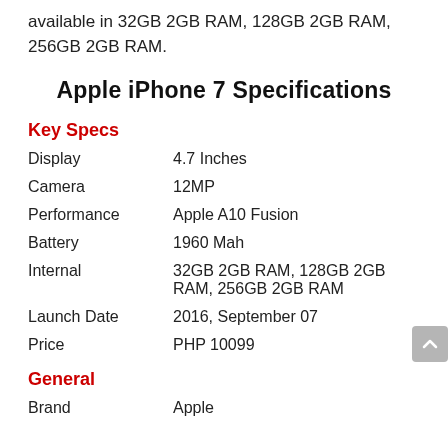available in 32GB 2GB RAM, 128GB 2GB RAM, 256GB 2GB RAM.
Apple iPhone 7 Specifications
Key Specs
| Spec | Value |
| --- | --- |
| Display | 4.7 Inches |
| Camera | 12MP |
| Performance | Apple A10 Fusion |
| Battery | 1960 Mah |
| Internal | 32GB 2GB RAM, 128GB 2GB RAM, 256GB 2GB RAM |
| Launch Date | 2016, September 07 |
| Price | PHP 10099 |
General
| Spec | Value |
| --- | --- |
| Brand | Apple |